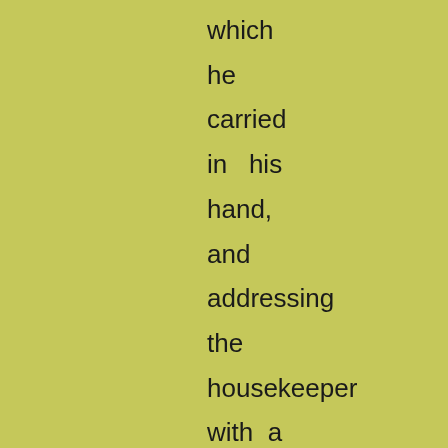which
he
carried
in  his
hand,
and
addressing
the
housekeeper
with  a
shrill
'ya    -
hip!'
inquired
if   she
was
'going
down
tho